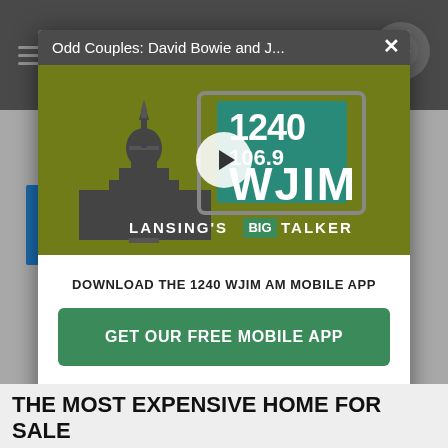[Figure (screenshot): Mobile app webpage screenshot showing WJIM 1240 radio station page with a modal popup overlay]
Odd Couples: David Bowie and J...
[Figure (logo): 1240 / 106.9 WJIM Lansing's Big Talker radio station logo with capitol building icon on olive/green background]
DOWNLOAD THE 1240 WJIM AM MOBILE APP
GET OUR FREE MOBILE APP
Also listen on:  amazon alexa
THE MOST EXPENSIVE HOME FOR SALE